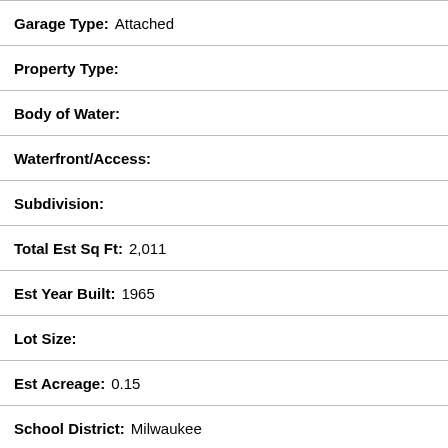Garage Type: Attached
Property Type:
Body of Water:
Waterfront/Access:
Subdivision:
Total Est Sq Ft: 2,011
Est Year Built: 1965
Lot Size:
Est Acreage: 0.15
School District: Milwaukee
High School:
Middle School:
Elementary School:
Taxes: $3,978